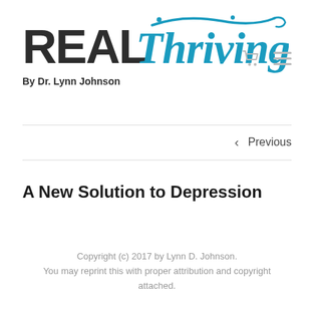[Figure (logo): REAL Thriving logo — 'REAL' in bold dark gray sans-serif, 'Thriving' in blue italic serif with decorative swoop curl above]
By Dr. Lynn Johnson
< Previous
A New Solution to Depression
Copyright (c) 2017 by Lynn D. Johnson.
You may reprint this with proper attribution and copyright attached.